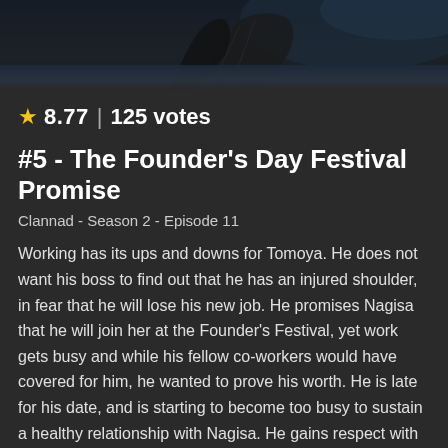[Figure (illustration): Dark background with anime character illustration at the top of the page]
★ 8.77 | 125 votes
#5 - The Founder's Day Festival Promise
Clannad - Season 2 - Episode 11
Working has its ups and downs for Tomoya. He does not want his boss to find out that he has an injured shoulder, in fear that he will lose his new job. He promises Nagisa that he will join her at the Founder's Festival, yet work gets busy and while his fellow co-workers would have covered for him, he wanted to prove his worth. He is late for his date, and is starting to become too busy to sustain a healthy relationship with Nagisa. He gains respect with his co-workers and settles into his job.